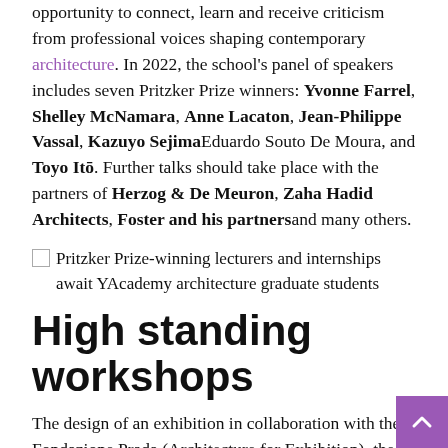opportunity to connect, learn and receive criticism from professional voices shaping contemporary architecture. In 2022, the school's panel of speakers includes seven Pritzker Prize winners: Yvonne Farrel, Shelley McNamara, Anne Lacaton, Jean-Philippe Vassal, Kazuyo SejimaEduardo Souto De Moura, and Toyo Itō. Further talks should take place with the partners of Herzog & De Meuron, Zaha Hadid Architects, Foster and his partnersand many others.
[Figure (photo): Pritzker Prize-winning lecturers and internships await YAcademy architecture graduate students]
High standing workshops
The design of an exhibition in collaboration with the Fondazione Prada (Architecture for Exhibition), the recovery of an abandoned abbey in the Irish countryside (Architecture for Heritage), the design of a pop-up store for 10 Corso Como (Architecture for Fashion), or the design of a pediatric hospital in Senegal (Architecture for Humanity): YAcademy offers several